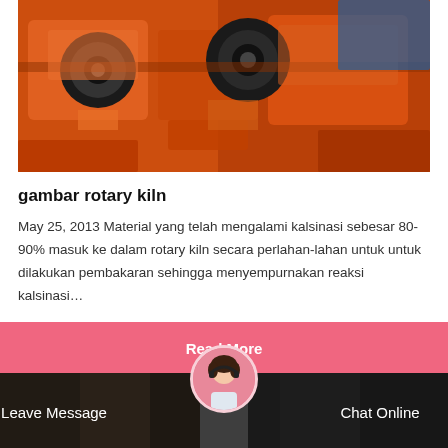[Figure (photo): Photo of orange industrial machinery/rotary kiln equipment with large black wheels/pulleys, viewed in a workshop or factory setting.]
gambar rotary kiln
May 25, 2013 Material yang telah mengalami kalsinasi sebesar 80-90% masuk ke dalam rotary kiln secara perlahan-lahan untuk untuk dilakukan pembakaran sehingga menyempurnakan reaksi kalsinasi…
Read More
[Figure (photo): Bottom bar showing partial industrial/equipment photos on left and right sides, with a circular avatar photo of a woman with headset in the center, and text 'Leave Message' on left and 'Chat Online' on right.]